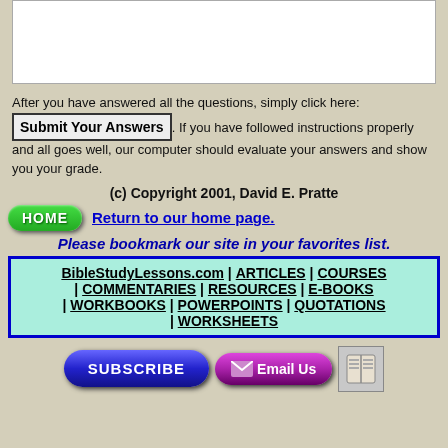[Figure (other): White text input box at top of page]
After you have answered all the questions, simply click here: [Submit Your Answers]. If you have followed instructions properly and all goes well, our computer should evaluate your answers and show you your grade.
(c) Copyright 2001, David E. Pratte
HOME  Return to our home page.
Please bookmark our site in your favorites list.
BibleStudyLessons.com | ARTICLES | COURSES | COMMENTARIES | RESOURCES | E-BOOKS | WORKBOOKS | POWERPOINTS | QUOTATIONS | WORKSHEETS
[Figure (other): SUBSCRIBE button, Email Us button, and book icon at bottom]